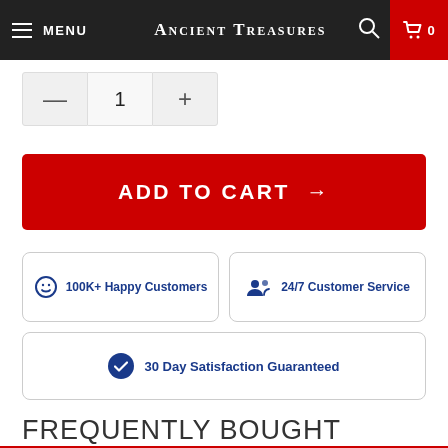MENU | ANCIENT TREASURES | 0
1
ADD TO CART →
100K+ Happy Customers
24/7 Customer Service
30 Day Satisfaction Guaranteed
FREQUENTLY BOUGHT TOGETHER